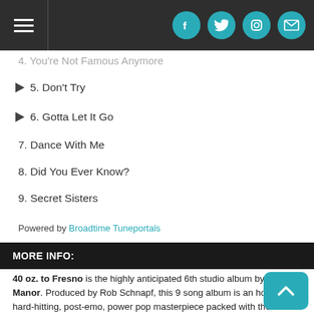Navigation and social icons header bar
4. You're Not Famous Anymore
5. Don't Try
6. Gotta Let It Go
7. Dance With Me
8. Did You Ever Know?
9. Secret Sisters
Powered by Broadtime Tuneportals
MORE INFO:
40 oz. to Fresno is the highly anticipated 6th studio album by Joyce Manor. Produced by Rob Schnapf, this 9 song album is an honest, hard-hitting, post-emo, power pop masterpiece packed with the elevated writing and earnest delivery Joyce Manor is loved for.
Joyce Manor has toured extensively and their live show has been the